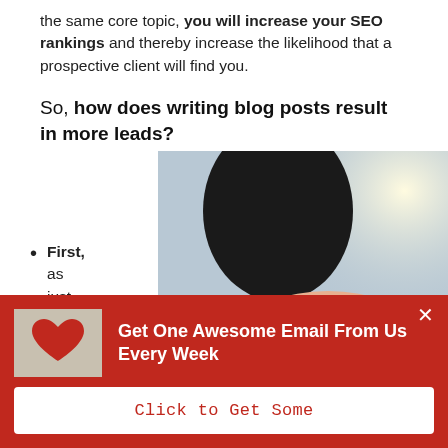the same core topic, you will increase your SEO rankings and thereby increase the likelihood that a prospective client will find you.
So, how does writing blog posts result in more leads?
[Figure (photo): Person typing on a laptop keyboard, photo from above showing hands on keyboard with bright light in background]
First, as just
[Figure (infographic): Red popup banner with heart image on left, text 'Get One Awesome Email From Us Every Week', close X button, and white button 'Click to Get Some']